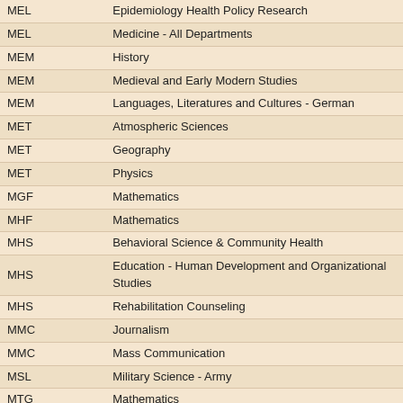| Code | Department |
| --- | --- |
| MEL | Epidemiology Health Policy Research |
| MEL | Medicine - All Departments |
| MEM | History |
| MEM | Medieval and Early Modern Studies |
| MEM | Languages, Literatures and Cultures - German |
| MET | Atmospheric Sciences |
| MET | Geography |
| MET | Physics |
| MGF | Mathematics |
| MHF | Mathematics |
| MHS | Behavioral Science & Community Health |
| MHS | Education - Human Development and Organizational Studies |
| MHS | Rehabilitation Counseling |
| MMC | Journalism |
| MMC | Mass Communication |
| MSL | Military Science - Army |
| MTG | Mathematics |
| MUC | Music |
| MUE | Education - Teaching and Learning |
| MUE | Music |
| MUG | Music |
| MUH | Music |
| MUL | Music |
| MUN | Music |
| MUO | Music |
| MUR | Music |
| MUS | Music |
| MUT | Music |